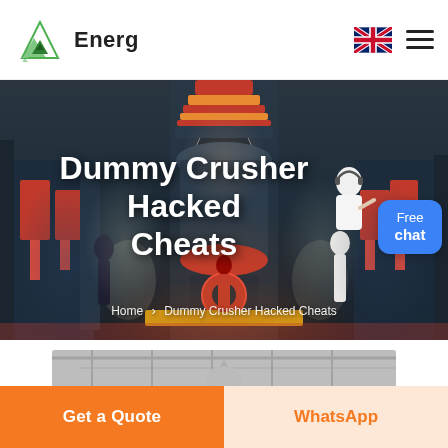Energ
[Figure (screenshot): Hero banner showing industrial crusher machinery with the text 'Dummy Crusher Hacked Cheats' overlaid. Breadcrumb shows: Home > Dummy Crusher Hacked Cheats. A free chat widget appears at the right. Dark industrial background.]
Dummy Crusher Hacked Cheats
Home > Dummy Crusher Hacked Cheats
[Figure (photo): Partial grayscale photo of industrial machinery/warehouse interior visible at bottom of page]
Get a Quote
WhatsApp